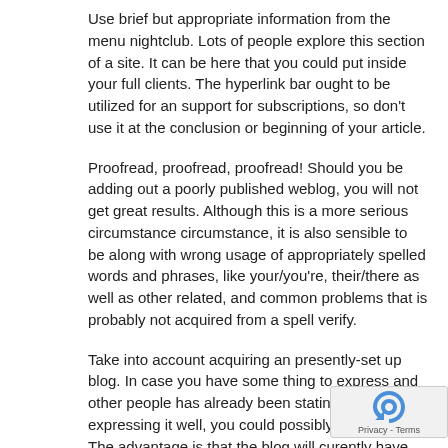Use brief but appropriate information from the menu nightclub. Lots of people explore this section of a site. It can be here that you could put inside your full clients. The hyperlink bar ought to be utilized for an support for subscriptions, so don't use it at the conclusion or beginning of your article.
Proofread, proofread, proofread! Should you be adding out a poorly published weblog, you will not get great results. Although this is a more serious circumstance circumstance, it is also sensible to be along with wrong usage of appropriately spelled words and phrases, like your/you're, their/there as well as other related, and common problems that is probably not acquired from a spell verify.
Take into account acquiring an presently-set up blog. In case you have some thing to express and other people has already been stating it, and expressing it well, you could possibly get them out. The advantage is that the blog will curently have an established history. All you want do is preserve or exceed that history.
Create a distinctive and intriguing label for every single of your blog posts. The headline ought to quickly engage your reader resulting in the need to find out more. Even the best write-up be destined with a bad label. Consider using humor, dilemma some other proper enjoy on words to generate your headline.